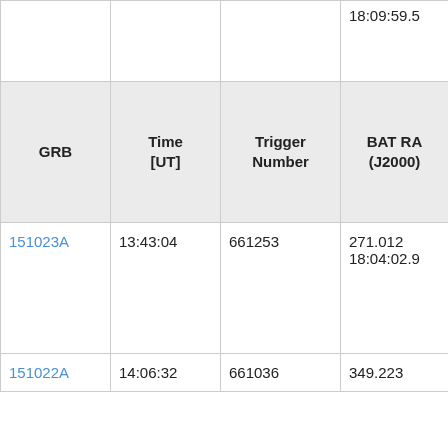| GRB | Time [UT] | Trigger Number | BAT RA (J2000) |
| --- | --- | --- | --- |
|  |  |  | 18:09:59.5 |
| GRB | Time [UT] | Trigger Number | BAT RA (J2000) |
| 151023A | 13:43:04 | 661253 | 271.012
18:04:02.9 |
| 151022A | 14:06:32 | 661036 | 349.223 |